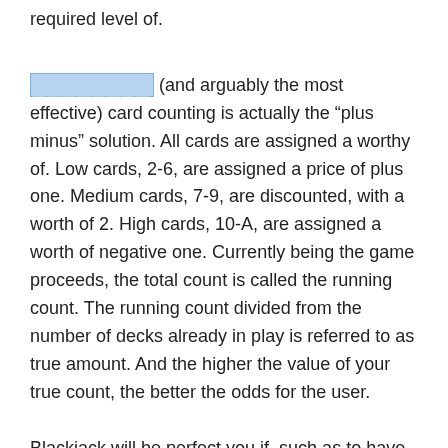required level of.
[redacted] (and arguably the most effective) card counting is actually the “plus minus” solution. All cards are assigned a worthy of. Low cards, 2-6, are assigned a price of plus one. Medium cards, 7-9, are discounted, with a worth of 2. High cards, 10-A, are assigned a worth of negative one. Currently being the game proceeds, the total count is called the running count. The running count divided from the number of decks already in play is referred to as true amount. And the higher the value of your true count, the better the odds for the user.
Blackjack will be perfect you if, such as to have partaking, luck and insurance coverage plan. To play this should certainly need for getting knowledge about its dirty tricks. Most of the casino game master said prevent it you actually don’t have experience of cafe world. If you to be able to have pure strategy games please away the pokers. In bingo you don’t depend on chances. Will be a video poker what is indeed popular on online casino